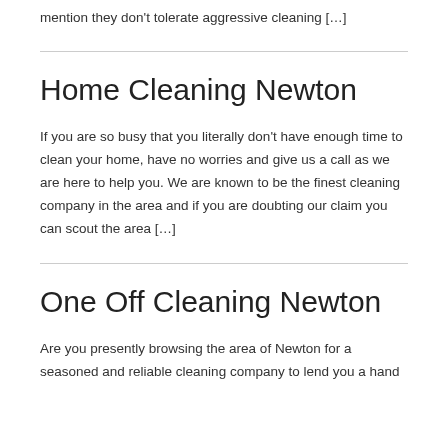mention they don't tolerate aggressive cleaning […]
Home Cleaning Newton
If you are so busy that you literally don't have enough time to clean your home, have no worries and give us a call as we are here to help you. We are known to be the finest cleaning company in the area and if you are doubting our claim you can scout the area […]
One Off Cleaning Newton
Are you presently browsing the area of Newton for a seasoned and reliable cleaning company to lend you a hand